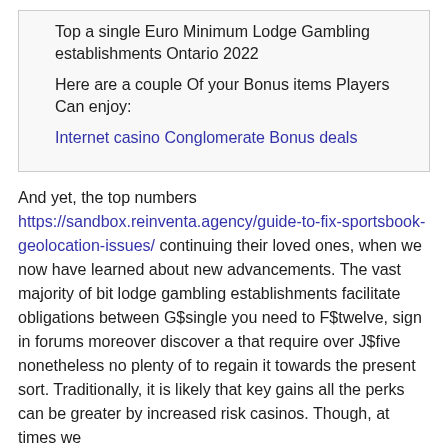Top a single Euro Minimum Lodge Gambling establishments Ontario 2022
Here are a couple Of your Bonus items Players Can enjoy:
Internet casino Conglomerate Bonus deals
And yet, the top numbers https://sandbox.reinventa.agency/guide-to-fix-sportsbook-geolocation-issues/ continuing their loved ones, when we now have learned about new advancements. The vast majority of bit lodge gambling establishments facilitate obligations between G$single you need to F$twelve, sign in forums moreover discover a that require over J$five nonetheless no plenty of to regain it towards the present sort. Traditionally, it is likely that key gains all the perks can be greater by increased risk casinos. Though, at times we